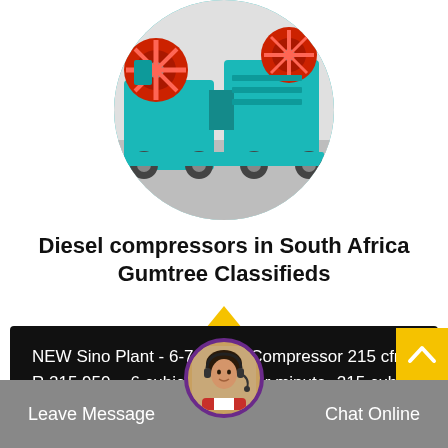[Figure (photo): Circular cropped photo of a large teal/turquoise diesel compressor machine with red fan elements, industrial factory setting.]
Diesel compressors in South Africa Gumtree Classifieds
NEW Sino Plant - 6-7 Diesel Compressor 215 cfm. R 215,950. • 6 cubic meters per minute• 215 cubic feet per minute• 5 Bar / 110 PSI•…
Leave Message   Chat Online